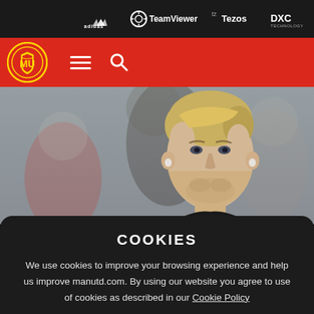adidas  TeamViewer  Tezos  DXC Technology
[Figure (screenshot): Manchester United website navigation bar with club crest logo, hamburger menu icon, and search icon on red background]
[Figure (photo): Close-up photo of a blonde male football player (Luke Shaw) in a dark training kit, with blurred figures in background]
COOKIES
We use cookies to improve your browsing experience and help us improve manutd.com. By using our website you agree to use of cookies as described in our Cookie Policy
OK